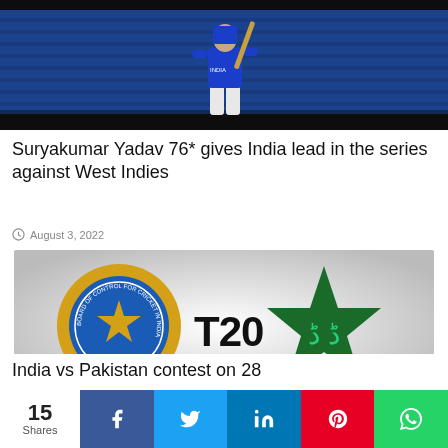[Figure (photo): Cricket player in blue India jersey jumping/batting, stadium seats in background]
Suryakumar Yadav 76* gives India lead in the series against West Indies
August 3, 2022
[Figure (photo): BCCI logo (blue circle with gold star) on left, T20 text in center, Pakistan cricket star logo (green star) on right, gray gradient background]
India vs Pakistan contest on 28
15 Shares